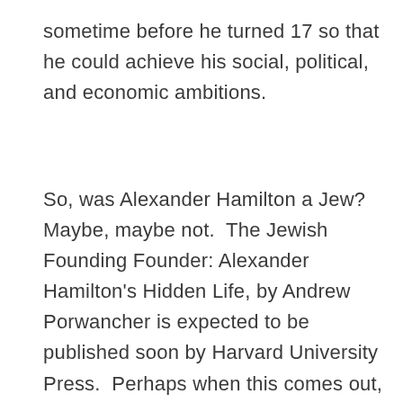sometime before he turned 17 so that he could achieve his social, political, and economic ambitions.
So, was Alexander Hamilton a Jew? Maybe, maybe not.  The Jewish Founding Founder: Alexander Hamilton's Hidden Life, by Andrew Porwancher is expected to be published soon by Harvard University Press.  Perhaps when this comes out, we will know.